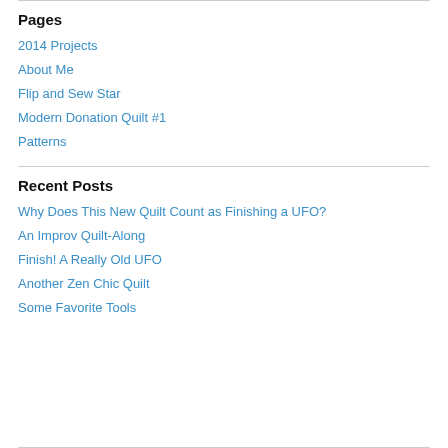Pages
2014 Projects
About Me
Flip and Sew Star
Modern Donation Quilt #1
Patterns
Recent Posts
Why Does This New Quilt Count as Finishing a UFO?
An Improv Quilt-Along
Finish! A Really Old UFO
Another Zen Chic Quilt
Some Favorite Tools